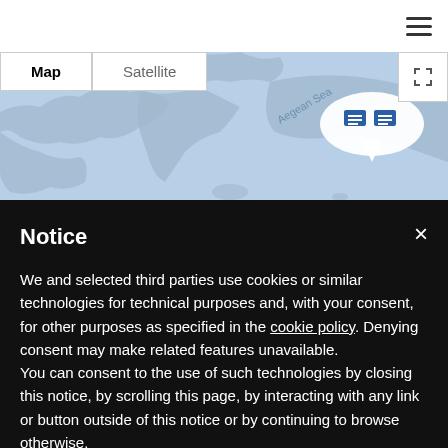[Figure (map): Google Maps-style interactive map showing the Aegean Sea region with map/satellite toggle and location pins with cluster markers. A hamburger menu icon is in the top-right corner and a fullscreen button is in the map top-right.]
Notice
We and selected third parties use cookies or similar technologies for technical purposes and, with your consent, for other purposes as specified in the cookie policy. Denying consent may make related features unavailable.
You can consent to the use of such technologies by closing this notice, by scrolling this page, by interacting with any link or button outside of this notice or by continuing to browse otherwise.
Learn more and customize